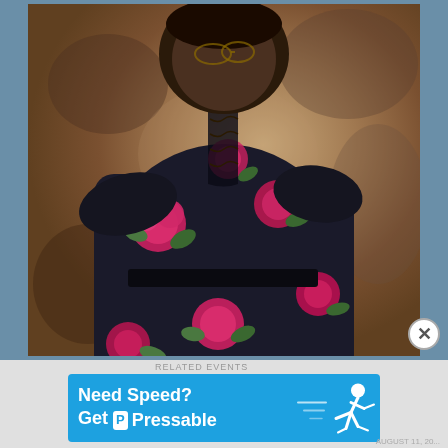[Figure (photo): Portrait photo of a person wearing a dark floral dress/robe with pink roses and green leaves, standing sideways against a mottled brown studio background. The person has braided hair and is wearing glasses.]
RELATED EVENTS
[Figure (infographic): Advertisement banner in blue: 'Need Speed? Get Pressable' with a stylized running figure graphic]